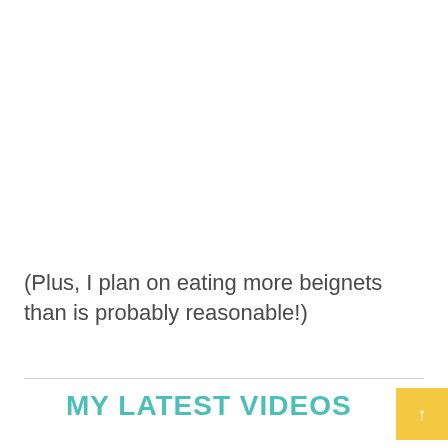(Plus, I plan on eating more beignets than is probably reasonable!)
MY LATEST VIDEOS
[Figure (other): Video thumbnail placeholder with gray background]